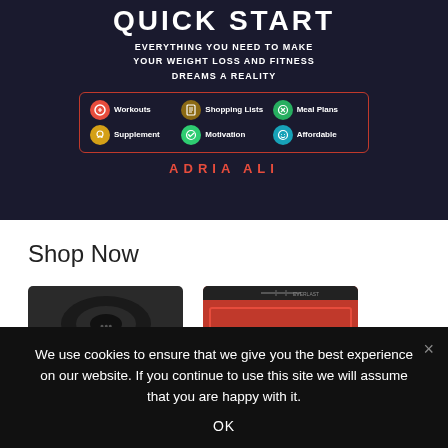[Figure (illustration): Book cover for 'Quick Start' by Adria Ali — dark background with title text, subtitle 'Everything you need to make your weight loss and fitness dreams a reality', a features box with icons for Workouts, Shopping Lists, Meal Plans, Supplement, Motivation, Affordable, and author name Adria Ali in red.]
Shop Now
[Figure (photo): Two product images partially visible: a black fitness ring/band on the left and a red/black resistance band on the right, cropped at bottom edge.]
We use cookies to ensure that we give you the best experience on our website. If you continue to use this site we will assume that you are happy with it.
OK